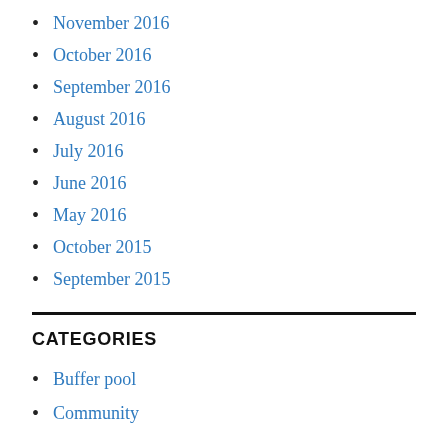November 2016
October 2016
September 2016
August 2016
July 2016
June 2016
May 2016
October 2015
September 2015
CATEGORIES
Buffer pool
Community